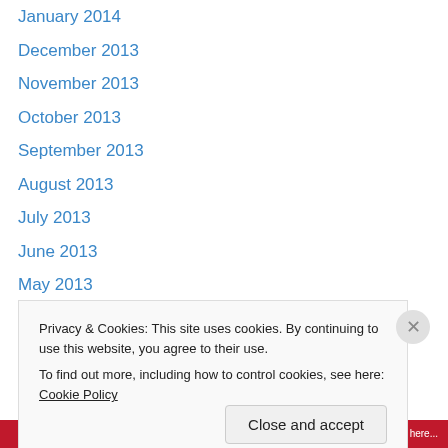January 2014
December 2013
November 2013
October 2013
September 2013
August 2013
July 2013
June 2013
May 2013
April 2013
March 2013
February 2013
January 2013
December 2012
Privacy & Cookies: This site uses cookies. By continuing to use this website, you agree to their use.
To find out more, including how to control cookies, see here: Cookie Policy
Close and accept